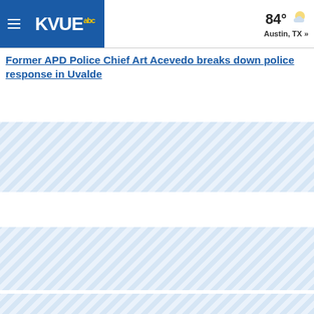KVUE abc | 84° Austin, TX »
Former APD Police Chief Art Acevedo breaks down police response in Uvalde
[Figure (screenshot): Striped placeholder content blocks representing video or image thumbnails on a news website]